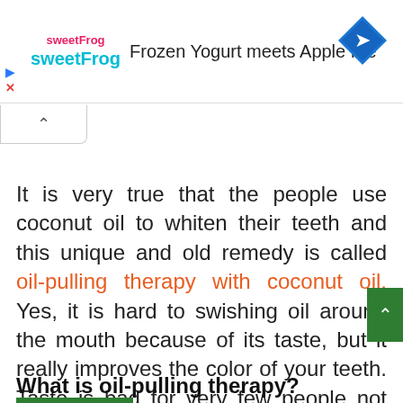[Figure (screenshot): Advertisement banner for sweetFrog frozen yogurt. Shows sweetFrog logo, headline 'Frozen Yogurt meets Apple Pie', cyan sweetFrog text, and a blue diamond arrow icon on the right. Close/play icons on the left.]
It is very true that the people use coconut oil to whiten their teeth and this unique and old remedy is called oil-pulling therapy with coconut oil. Yes, it is hard to swishing oil around the mouth because of its taste, but it really improves the color of your teeth. Taste is bad for very few people not for all, so do not worry. Think about the benefits!
What is oil-pulling therapy?